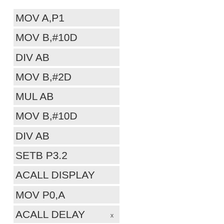MOV A,P1
MOV B,#10D
DIV AB
MOV B,#2D
MUL AB
MOV B,#10D
DIV AB
SETB P3.2
ACALL DISPLAY
MOV P0,A
ACALL DELAY
x